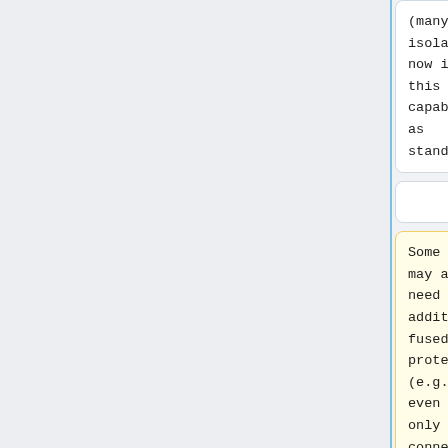(many isolators now include this capability as standard).
(many isolators now include this capability as standard).
Some fans may also need additional fused protection (e.g. at 3A) even when only connected to a 6A lighting
Some fans may also need additional fused protection (e.g. at 3A) even when only connected to a 6A lighting